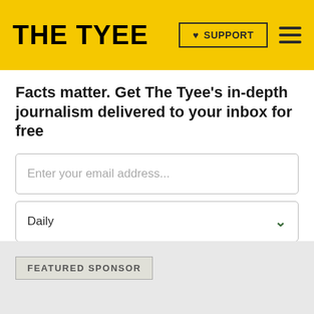THE TYEE | SUPPORT | Menu
Facts matter. Get The Tyee’s in-depth journalism delivered to your inbox for free
Enter your email address...
Daily
Subscribe now
Privacy policy
FEATURED SPONSOR